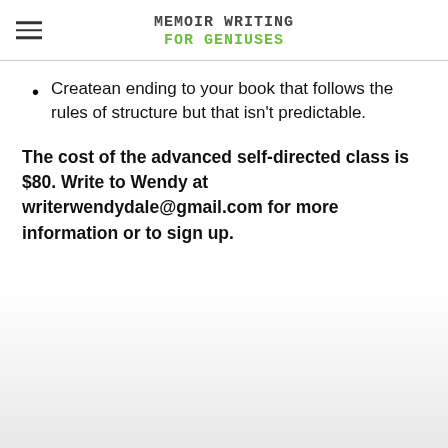Memoir Writing for Geniuses
Createan ending to your book that follows the rules of structure but that isn't predictable.
The cost of the advanced self-directed class is $80. Write to Wendy at writerwendydale@gmail.com for more information or to sign up.